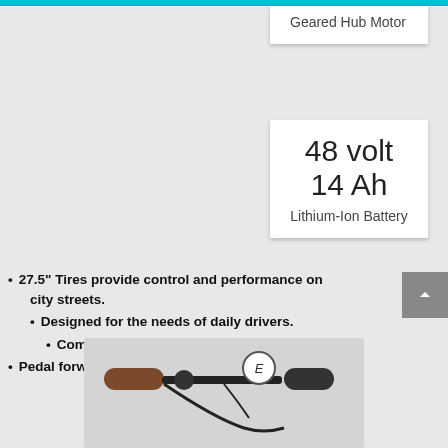Geared Hub Motor
48 volt 14 Ah
Lithium-Ion Battery
27.5" Tires provide control and performance on city streets.
Designed for the needs of daily drivers.
Comfortable upright riding position.
Pedal forward design & quick adjust handle bars.
[Figure (photo): Close-up of electric bicycle handlebars with brown grips, controls, and a display unit labeled E]